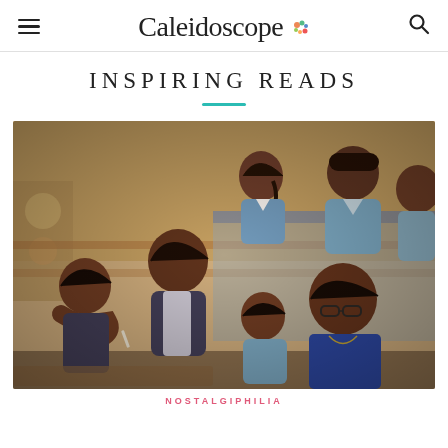Caleidoscope
INSPIRING READS
[Figure (photo): A group of Indian school children in blue uniforms sitting at desks in a classroom, looking upward attentively, with a female teacher wearing glasses in the foreground.]
NOSTALGIPHILIA